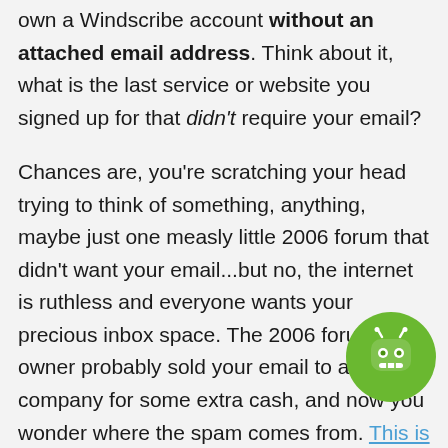own a Windscribe account without an attached email address. Think about it, what is the last service or website you signed up for that didn't require your email?
Chances are, you're scratching your head trying to think of something, anything, maybe just one measly little 2006 forum that didn't want your email...but no, the internet is ruthless and everyone wants your precious inbox space. The 2006 forum owner probably sold your email to an ad company for some extra cash, and now you wonder where the spam comes from. This is how we deal with such offers for our users' data.
To put it...
[Figure (illustration): Green circular chat bot icon with antenna and face]